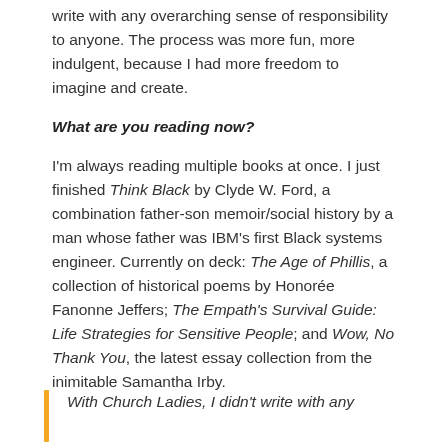write with any overarching sense of responsibility to anyone. The process was more fun, more indulgent, because I had more freedom to imagine and create.
What are you reading now?
I'm always reading multiple books at once. I just finished Think Black by Clyde W. Ford, a combination father-son memoir/social history by a man whose father was IBM's first Black systems engineer. Currently on deck: The Age of Phillis, a collection of historical poems by Honorée Fanonne Jeffers; The Empath's Survival Guide: Life Strategies for Sensitive People; and Wow, No Thank You, the latest essay collection from the inimitable Samantha Irby.
With Church Ladies, I didn't write with any